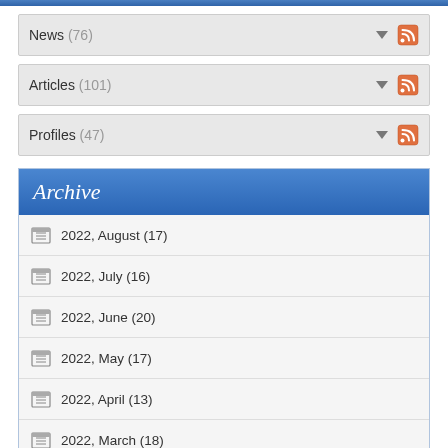News (76)
Articles (101)
Profiles (47)
Archive
2022, August (17)
2022, July (16)
2022, June (20)
2022, May (17)
2022, April (13)
2022, March (18)
2022, February (7)
2022, January (6)
2021, December (11)